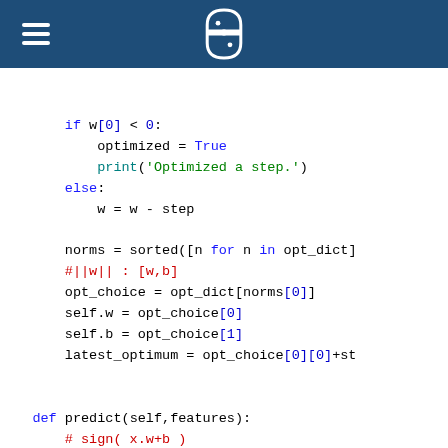[Figure (logo): Python documentation page header with Python logo and hamburger menu on dark blue background]
if w[0] < 0:
    optimized = True
    print('Optimized a step.')
else:
    w = w - step

norms = sorted([n for n in opt_dict]
#||w|| : [w,b]
opt_choice = opt_dict[norms[0]]
self.w = opt_choice[0]
self.b = opt_choice[1]
latest_optimum = opt_choice[0][0]+st

def predict(self,features):
    # sign( x.w+b )
    classification = np.sign(np.dot(np.array
    return classification